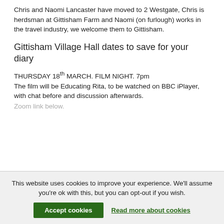Chris and Naomi Lancaster have moved to 2 Westgate, Chris is herdsman at Gittisham Farm and Naomi (on furlough) works in the travel industry, we welcome them to Gittisham.
Gittisham Village Hall dates to save for your diary
THURSDAY 18th MARCH. FILM NIGHT. 7pm The film will be Educating Rita, to be watched on BBC iPlayer, with chat before and discussion afterwards.
Zoom link below.
This website uses cookies to improve your experience. We'll assume you're ok with this, but you can opt-out if you wish.